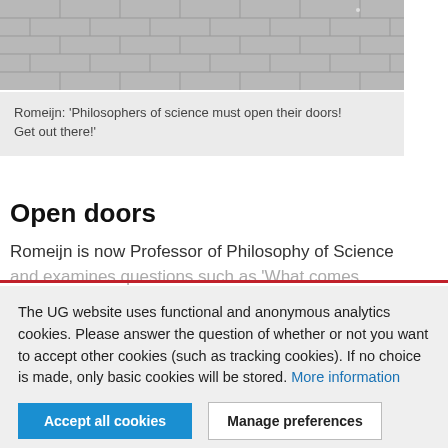[Figure (photo): Overhead view of stone tile pavement/sidewalk in gray tones]
Romeijn: 'Philosophers of science must open their doors! Get out there!'
Open doors
Romeijn is now Professor of Philosophy of Science and examines questions such as 'What comes
The UG website uses functional and anonymous analytics cookies. Please answer the question of whether or not you want to accept other cookies (such as tracking cookies). If no choice is made, only basic cookies will be stored. More information
Accept all cookies | Manage preferences